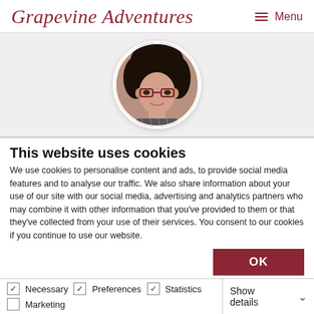Grapevine Adventures  ≡ Menu
[Figure (photo): Circular cropped portrait photo of a woman with curly dark hair and glasses, wearing a patterned top, set against a light background in a hero banner area.]
This website uses cookies
We use cookies to personalise content and ads, to provide social media features and to analyse our traffic. We also share information about your use of our site with our social media, advertising and analytics partners who may combine it with other information that you've provided to them or that they've collected from your use of their services. You consent to our cookies if you continue to use our website.
OK
Necessary  Preferences  Statistics  Marketing  Show details